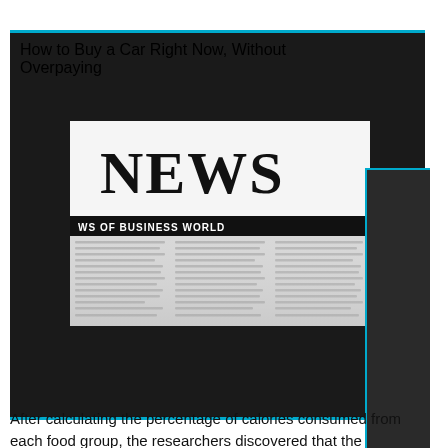How to Buy a Car Right Now, Without Overpaying
[Figure (photo): A close-up photograph of a newspaper front page showing NEWS OF BUSINESS WORLD headline with columns of printed text below, shot at an angle with background blurred]
After calculating the percentage of calories consumed from each food group, the researchers discovered that the